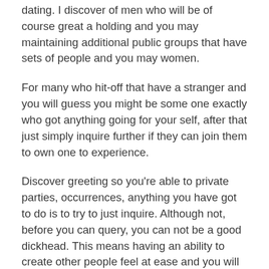dating. I discover of men who will be of course great a holding and you may maintaining additional public groups that have sets of people and you may women.
For many who hit-off that have a stranger and you will guess you might be some one exactly who got anything going for your self, after that just simply inquire further if they can join them to own one to experience.
Discover greeting so you’re able to private parties, occurrences, anything you have got to do is to try to just inquire. Although not, before you can query, you can not be a good dickhead. This means having an ability to create other people feel at ease and you will enjoyed close to you.
If you’re looking to start or keep very own public community, initiate organising otherwise start signing up for anyone to have spend time lessons